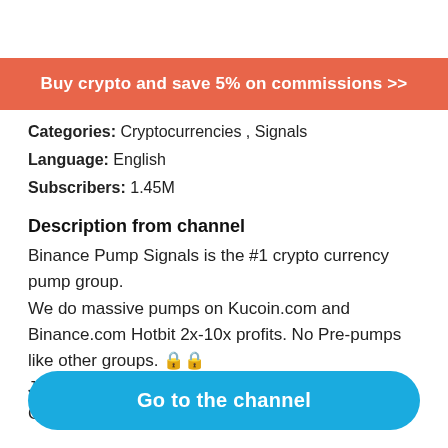[Figure (infographic): Orange/salmon colored banner advertisement reading 'Buy crypto and save 5% on commissions >>']
Categories: Cryptocurrencies , Signals
Language: English
Subscribers: 1.45M
Description from channel
Binance Pump Signals is the #1 crypto currency pump group.
We do massive pumps on Kucoin.com and Binance.com Hotbit 2x-10x profits. No Pre-pumps like other groups. 🔒🔒
Join us today for huge profits. 🔥
Contact @BPAndmin for Infos and cross promos.
Go to the channel